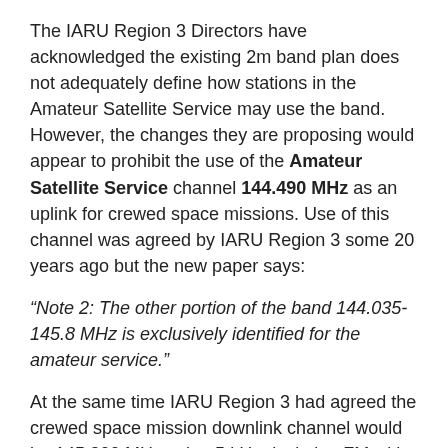The IARU Region 3 Directors have acknowledged the existing 2m band plan does not adequately define how stations in the Amateur Satellite Service may use the band. However, the changes they are proposing would appear to prohibit the use of the Amateur Satellite Service channel 144.490 MHz as an uplink for crewed space missions. Use of this channel was agreed by IARU Region 3 some 20 years ago but the new paper says:
“Note 2: The other portion of the band 144.035-145.8 MHz is exclusively identified for the amateur service.”
At the same time IARU Region 3 had agreed the crewed space mission downlink channel would be 145.800 MHz using 5 kHz deviation FM with a Doppler shift of +/- 3.5 kHz. The paper does not record this.